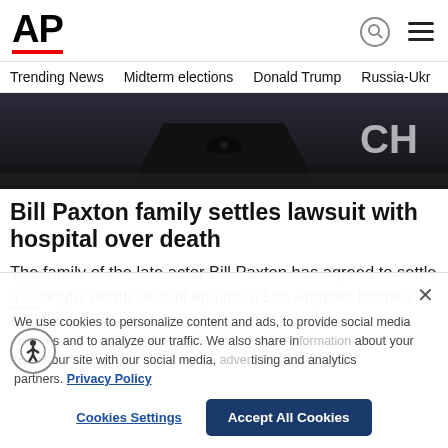AP
Trending News  Midterm elections  Donald Trump  Russia-Ukr
[Figure (photo): Person in black tuxedo with bow tie, partial face visible, with 'CH' text partially visible in upper right corner on dark background]
Bill Paxton family settles lawsuit with hospital over death
The family of the late actor Bill Paxton has agreed to settle a wrongful death lawsuit against a Los Angeles hospital and the…
We use cookies to personalize content and ads, to provide social media features and to analyze our traffic. We also share information about your use of our site with our social media, advertising and analytics partners. Privacy Policy
Cookies Settings    Accept All Cookies